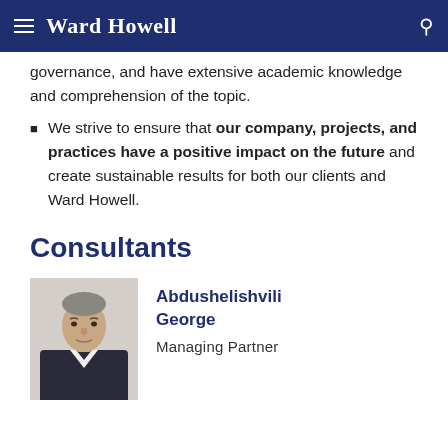Ward Howell
governance, and have extensive academic knowledge and comprehension of the topic.
We strive to ensure that our company, projects, and practices have a positive impact on the future and create sustainable results for both our clients and Ward Howell.
Consultants
[Figure (photo): Portrait photo of George Abdushelishvili, a middle-aged man in a dark suit with white shirt, light background]
Abdushelishvili George
Managing Partner